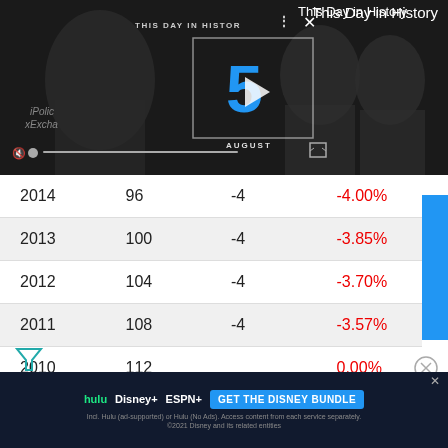[Figure (screenshot): Video player showing 'This Day in History' with date August 5, video controls visible]
This Day in History
| Year | Value | Change | Percent |
| --- | --- | --- | --- |
| 2014 | 96 | -4 | -4.00% |
| 2013 | 100 | -4 | -3.85% |
| 2012 | 104 | -4 | -3.70% |
| 2011 | 108 | -4 | -3.57% |
| 2010 | 112 |  | 0.00% |
[Figure (screenshot): Disney Bundle advertisement banner with Hulu, Disney+, ESPN+ logos and GET THE DISNEY BUNDLE call to action]